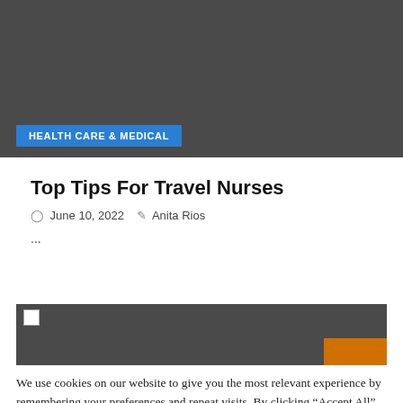[Figure (photo): Dark grey image block (top hero image area)]
HEALTH CARE & MEDICAL
Top Tips For Travel Nurses
June 10, 2022   Anita Rios
...
[Figure (photo): Dark grey image block with broken image icon top-left and orange rectangle bottom-right]
We use cookies on our website to give you the most relevant experience by remembering your preferences and repeat visits. By clicking "Accept All", you consent to the use of ALL the cookies. However you may visit "Cookie Settings" to